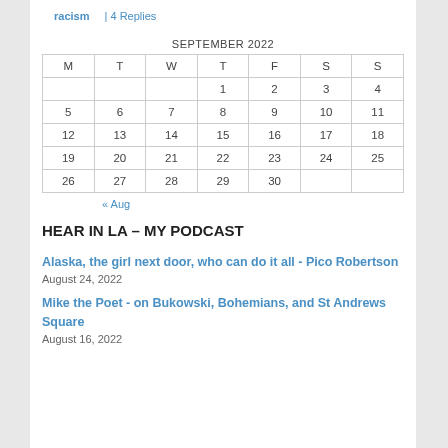racism | 4 Replies
| M | T | W | T | F | S | S |
| --- | --- | --- | --- | --- | --- | --- |
|  |  |  | 1 | 2 | 3 | 4 |
| 5 | 6 | 7 | 8 | 9 | 10 | 11 |
| 12 | 13 | 14 | 15 | 16 | 17 | 18 |
| 19 | 20 | 21 | 22 | 23 | 24 | 25 |
| 26 | 27 | 28 | 29 | 30 |  |  |
« Aug
HEAR IN LA – MY PODCAST
Alaska, the girl next door, who can do it all - Pico Robertson
August 24, 2022
Mike the Poet - on Bukowski, Bohemians, and St Andrews Square
August 16, 2022